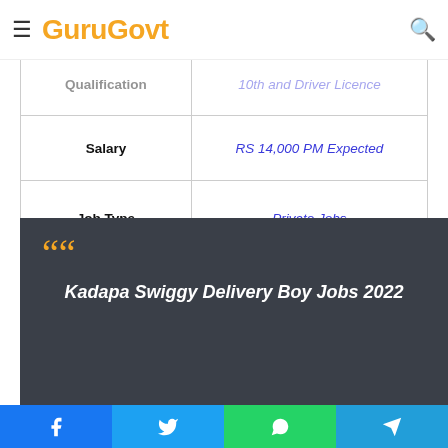GuruGovt
| Field | Value |
| --- | --- |
| Qualification | 10th and Driver Licence |
| Salary | RS 14,000 PM Expected |
| Job Type | Private Jobs |
[Figure (infographic): Dark grey quote banner with orange quotation marks and white italic bold text reading: Kadapa Swiggy Delivery Boy Jobs 2022]
| Field | Value |
| --- | --- |
| Education | 10th pass |
Facebook | Twitter | WhatsApp | Telegram